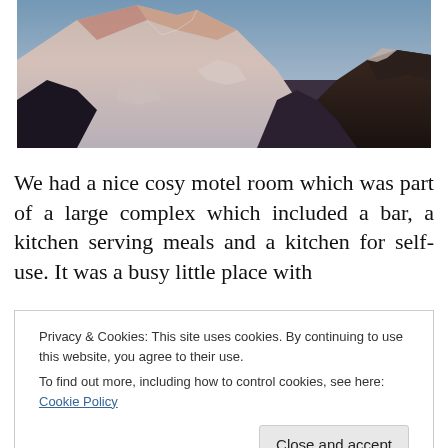[Figure (photo): Mountain peak with snow-covered slopes illuminated by warm alpenglow light, dark rocky outcrops visible, blue sky in background.]
We had a nice cosy motel room which was part of a large complex which included a bar, a kitchen serving meals and a kitchen for self-use. It was a busy little place with
Privacy & Cookies: This site uses cookies. By continuing to use this website, you agree to their use.
To find out more, including how to control cookies, see here: Cookie Policy
Close and accept